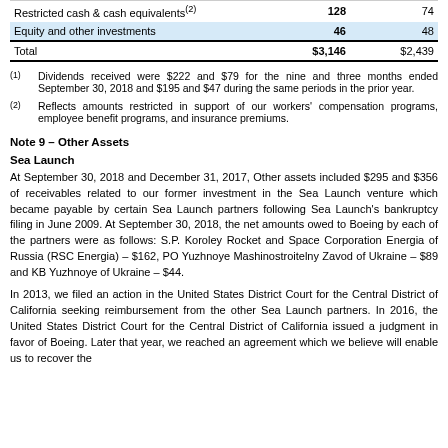|  |  |  |
| --- | --- | --- |
| Restricted cash & cash equivalents(2) | 128 | 74 |
| Equity and other investments | 46 | 48 |
| Total | $3,146 | $2,439 |
(1) Dividends received were $222 and $79 for the nine and three months ended September 30, 2018 and $195 and $47 during the same periods in the prior year.
(2) Reflects amounts restricted in support of our workers' compensation programs, employee benefit programs, and insurance premiums.
Note 9 – Other Assets
Sea Launch
At September 30, 2018 and December 31, 2017, Other assets included $295 and $356 of receivables related to our former investment in the Sea Launch venture which became payable by certain Sea Launch partners following Sea Launch's bankruptcy filing in June 2009. At September 30, 2018, the net amounts owed to Boeing by each of the partners were as follows: S.P. Koroley Rocket and Space Corporation Energia of Russia (RSC Energia) – $162, PO Yuzhnoye Mashinostroitelny Zavod of Ukraine – $89 and KB Yuzhnoye of Ukraine – $44.
In 2013, we filed an action in the United States District Court for the Central District of California seeking reimbursement from the other Sea Launch partners. In 2016, the United States District Court for the Central District of California issued a judgment in favor of Boeing. Later that year, we reached an agreement which we believe will enable us to recover the